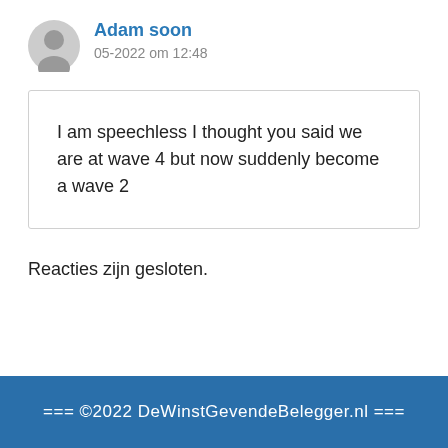Adam soon
05-2022 om 12:48
I am speechless I thought you said we are at wave 4 but now suddenly become a wave 2
Reacties zijn gesloten.
=== ©2022 DeWinstGevendeBelegger.nl ===